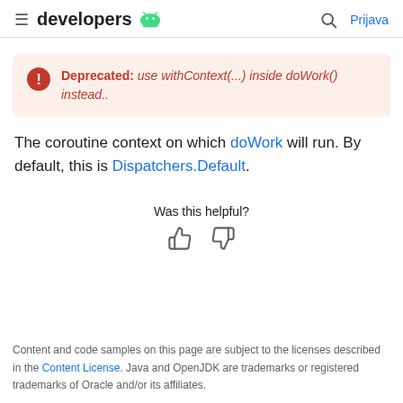developers [Android logo] | Search | Prijava
Deprecated: use withContext(...) inside doWork() instead..
The coroutine context on which doWork will run. By default, this is Dispatchers.Default.
Was this helpful?
Content and code samples on this page are subject to the licenses described in the Content License. Java and OpenJDK are trademarks or registered trademarks of Oracle and/or its affiliates.